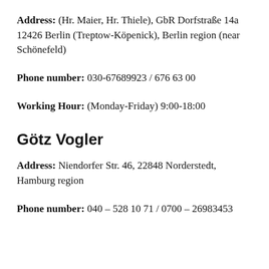Address: (Hr. Maier, Hr. Thiele), GbR Dorfstraße 14a 12426 Berlin (Treptow-Köpenick), Berlin region (near Schönefeld)
Phone number: 030-67689923 / 676 63 00
Working Hour: (Monday-Friday) 9:00-18:00
Götz Vogler
Address: Niendorfer Str. 46, 22848 Norderstedt, Hamburg region
Phone number: 040 – 528 10 71 / 0700 – 26983453